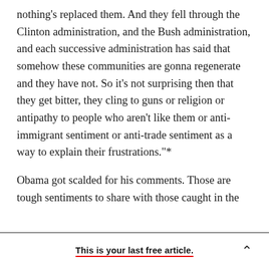nothing's replaced them. And they fell through the Clinton administration, and the Bush administration, and each successive administration has said that somehow these communities are gonna regenerate and they have not. So it's not surprising then that they get bitter, they cling to guns or religion or antipathy to people who aren't like them or anti-immigrant sentiment or anti-trade sentiment as a way to explain their frustrations."*
Obama got scalded for his comments. Those are tough sentiments to share with those caught in the
This is your last free article.